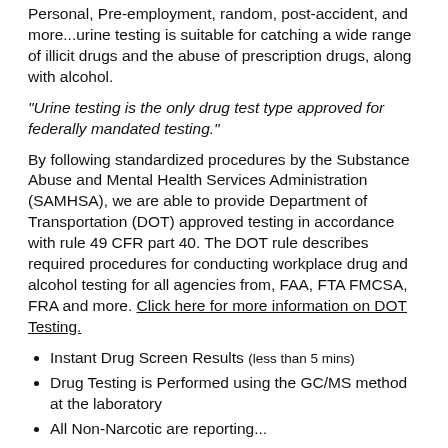Personal, Pre-employment, random, post-accident, and more...urine testing is suitable for catching a wide range of illicit drugs and the abuse of prescription drugs, along with alcohol.
"Urine testing is the only drug test type approved for federally mandated testing."
By following standardized procedures by the Substance Abuse and Mental Health Services Administration (SAMHSA), we are able to provide Department of Transportation (DOT) approved testing in accordance with rule 49 CFR part 40. The DOT rule describes required procedures for conducting workplace drug and alcohol testing for all agencies from, FAA, FTA FMCSA, FRA and more. Click here for more information on DOT Testing.
Instant Drug Screen Results (less than 5 mins)
Drug Testing is Performed using the GC/MS method at the laboratory
All Non-Negative are reporting...